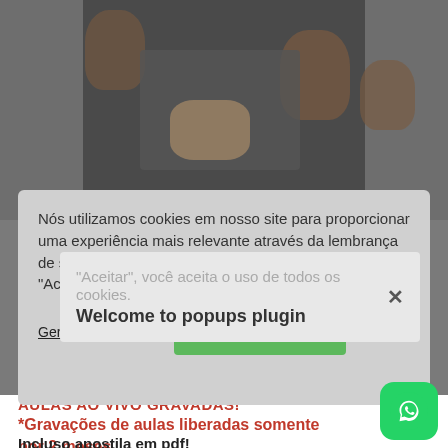[Figure (photo): Hands working with terracotta pots and soil on a patterned surface — gardening/planting scene]
Nós utilizamos cookies em nosso site para proporcionar uma experiência mais relevante através da lembrança de suas preferências e visitas repetidas. Clicando em "Aceitar", você aceita o uso de todos os cookies.
Welcome to popups plugin
Gerenciar Cookies
Aceitar
AULAS AO VIVO GRAVADAS!
*Gravações de aulas liberadas somente por 2 meses
Incluso apostila em pdf!